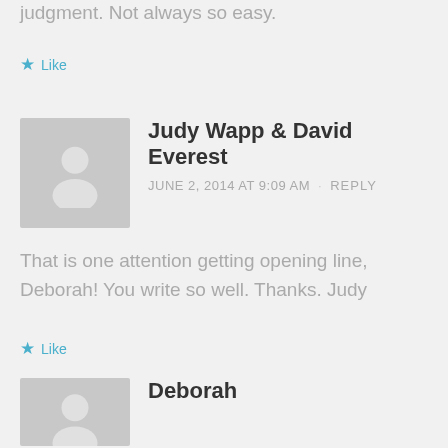judgment. Not always so easy.
★ Like
Judy Wapp & David Everest
JUNE 2, 2014 AT 9:09 AM · REPLY
That is one attention getting opening line, Deborah! You write so well. Thanks. Judy
★ Like
Deborah